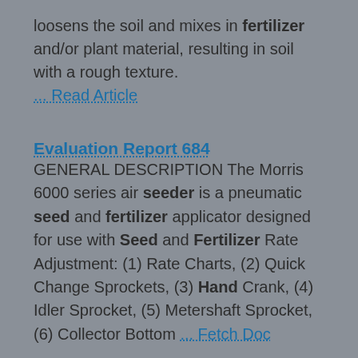loosens the soil and mixes in fertilizer and/or plant material, resulting in soil with a rough texture. ... Read Article
Evaluation Report 684
GENERAL DESCRIPTION The Morris 6000 series air seeder is a pneumatic seed and fertilizer applicator designed for use with Seed and Fertilizer Rate Adjustment: (1) Rate Charts, (2) Quick Change Sprockets, (3) Hand Crank, (4) Idler Sprocket, (5) Metershaft Sprocket, (6) Collector Bottom ... Fetch Doc